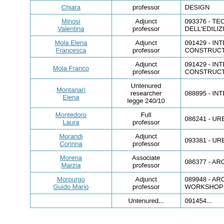| Name | Role | Course |
| --- | --- | --- |
| Chiara | professor | DESIGN |
| Minosi Valentina | Adjunct professor | 093376 - TECNICHE COSTRUTTIVE DELL'EDILIZIA STORICA |
| Mola Elena Francesca | Adjunct professor | 091429 - INTEGRATED COURSE OF CONSTRUCTION TECHNICS |
| Mola Franco | Adjunct professor | 091429 - INTEGRATED COURSE OF CONSTRUCTION TECHNICS |
| Montanari Elena | Untenured researcher legge 240/10 | 088895 - INTERIOR DESIGN |
| Montedoro Laura | Full professor | 086241 - URBAN DESIGN |
| Morandi Corinna | Adjunct professor | 093381 - URBAN... |
| Morena Marzia | Associate professor | 086377 - ARCHITECTURAL TECHNOLOGY |
| Morpurgo Guido Mario | Adjunct professor | 089948 - ARCHITECTURAL PROJECT WORKSHOP |
| ... | Untenured... | 091454... |